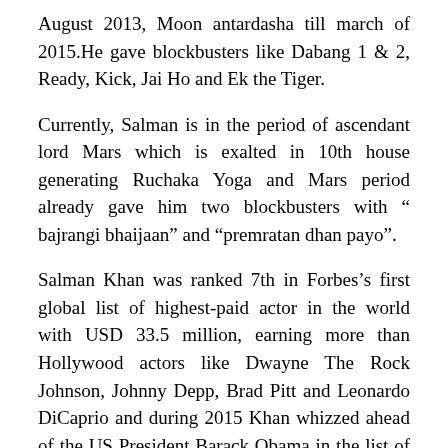August 2013, Moon antardasha till march of 2015.He gave blockbusters like Dabang 1 & 2, Ready, Kick, Jai Ho and Ek the Tiger.
Currently, Salman is in the period of ascendant lord Mars which is exalted in 10th house generating Ruchaka Yoga and Mars period already gave him two blockbusters with “ bajrangi bhaijaan” and “premratan dhan payo”.
Salman Khan was ranked 7th in Forbes’s first global list of highest-paid actor in the world with USD 33.5 million, earning more than Hollywood actors like Dwayne The Rock Johnson, Johnny Depp, Brad Pitt and Leonardo DiCaprio and during 2015 Khan whizzed ahead of the US President Barack Obama in the list of The Most Admired Personalities of India.
In September 2015, a leading magazine declared him